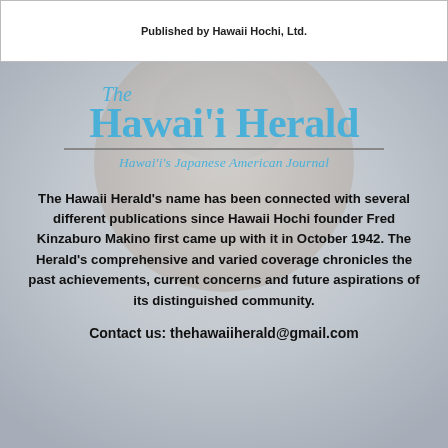Published by Hawaii Hochi, Ltd.
[Figure (logo): The Hawai'i Herald logo with subtitle Hawai'i's Japanese American Journal, overlaid on a faded photo background of a person's face]
The Hawaii Herald's name has been connected with several different publications since Hawaii Hochi founder Fred Kinzaburo Makino first came up with it in October 1942. The Herald's comprehensive and varied coverage chronicles the past achievements, current concerns and future aspirations of its distinguished community.
Contact us: thehawaiiherald@gmail.com